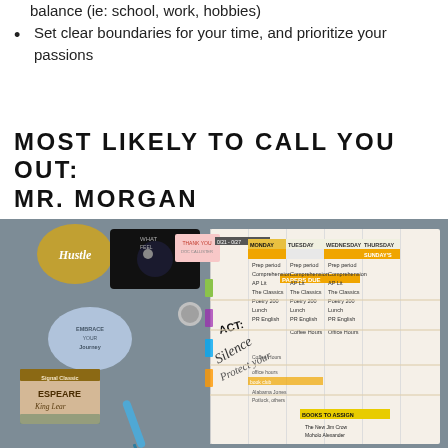balance (ie: school, work, hobbies)
Set clear boundaries for your time, and prioritize your passions
MOST LIKELY TO CALL YOU OUT: MR. MORGAN
[Figure (photo): A flat lay photo showing an open weekly planner/agenda with handwritten entries for school activities (prep period, AP Lit, The Classics, Poetry 200, Lunch, PR English, Coffee Hours, etc.), surrounded by stickers (Hustle, Embrace Your Journey), pins, a Shakespeare book (King Lear), a blue marker, and orange/yellow highlighted planner tabs.]